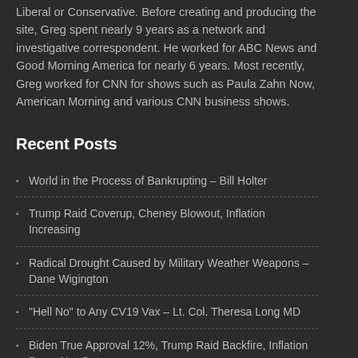Liberal or Conservative. Before creating and producing the site, Greg spent nearly 9 years as a network and investigative correspondent. He worked for ABC News and Good Morning America for nearly 6 years. Most recently, Greg worked for CNN for shows such as Paula Zahn Now, American Morning and various CNN business shows.
Recent Posts
World in the Process of Bankrupting – Bill Holter
Trump Raid Coverup, Cheney Blowout, Inflation Increasing
Radical Drought Caused by Military Weather Weapons – Dane Wigington
"Hell No" to Any CV19 Vax – Lt. Col. Theresa Long MD
Biden True Approval 12%, Trump Raid Backfire, Inflation Down Not Out
Trump Raid Deathblow to Democracy – Martin Armstrong